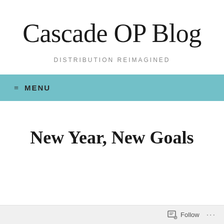Cascade OP Blog
DISTRIBUTION REIMAGINED
≡ MENU
New Year, New Goals
Follow ...